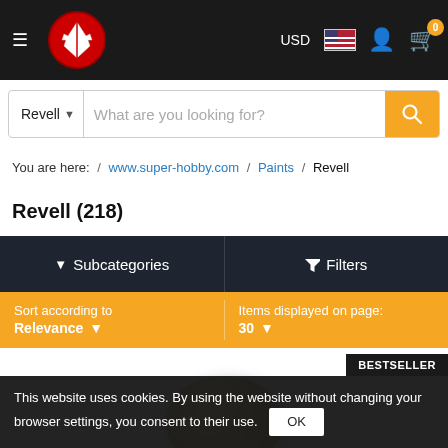super-hobby.com navigation bar with logo, USD, flag, user, cart icons
Revell | What are you looking for? [search bar]
You are here: / www.super-hobby.com / Paints / Revell
Revell (218)
▼ Subcategories   ▼ Filters
Sort according to Relevance   Items displayed on page: 30
[Figure (photo): Gold sphere product image with BESTSELLER badge]
This website uses cookies. By using the website without changing your browser settings, you consent to their use. OK